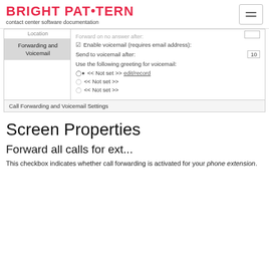BRIGHT PATTERN contact center software documentation
[Figure (screenshot): Screenshot of Call Forwarding and Voicemail Settings panel showing: Location nav item, Forwarding and Voicemail active nav item, Forward on no answer after field, Enable voicemail checkbox checked, Send to voicemail after field with value 10, Use the following greeting for voicemail with three radio options showing << Not set >> with edit/record link on first.]
Call Forwarding and Voicemail Settings
Screen Properties
Forward all calls for ext...
This checkbox indicates whether call forwarding is activated for your phone extension.